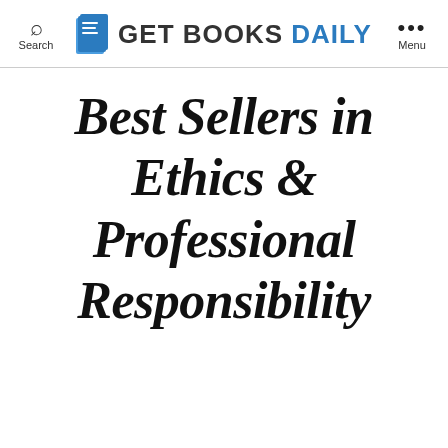Search | Get Books Daily | Menu
Best Sellers in Ethics & Professional Responsibility